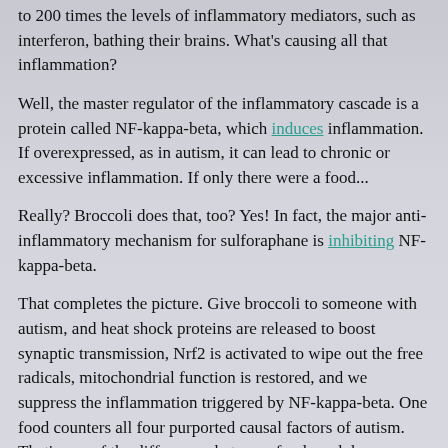to 200 times the levels of inflammatory mediators, such as interferon, bathing their brains. What's causing all that inflammation?
Well, the master regulator of the inflammatory cascade is a protein called NF-kappa-beta, which induces inflammation. If overexpressed, as in autism, it can lead to chronic or excessive inflammation. If only there were a food...
Really? Broccoli does that, too? Yes! In fact, the major anti-inflammatory mechanism for sulforaphane is inhibiting NF-kappa-beta.
That completes the picture. Give broccoli to someone with autism, and heat shock proteins are released to boost synaptic transmission, Nrf2 is activated to wipe out the free radicals, mitochondrial function is restored, and we suppress the inflammation triggered by NF-kappa-beta. One food counters all four purported causal factors of autism. That's one of the differences between foods and drugs. Drugs tend to have single effects. But, autism spectrum disorder is multifactorial, so it's no wonder there are no drugs that work. But "strategies using multi-functional phytochemicals" such as